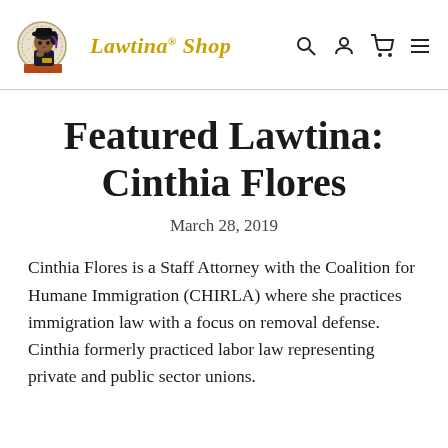[Figure (logo): Lawtina Shop logo with illustrated Latina woman at a desk and circular seal, with cursive gold 'Lawtina Shop' text and navigation icons (search, user, cart, menu)]
Featured Lawtina: Cinthia Flores
March 28, 2019
Cinthia Flores is a Staff Attorney with the Coalition for Humane Immigration (CHIRLA) where she practices immigration law with a focus on removal defense. Cinthia formerly practiced labor law representing private and public sector unions.